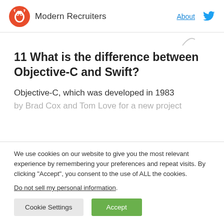Modern Recruiters | About
11 What is the difference between Objective-C and Swift?
Objective-C, which was developed in 1983 by Brad Cox and Tom Love for a new project
We use cookies on our website to give you the most relevant experience by remembering your preferences and repeat visits. By clicking “Accept”, you consent to the use of ALL the cookies.
Do not sell my personal information.